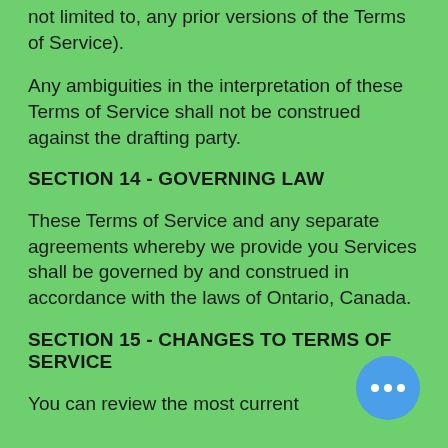not limited to, any prior versions of the Terms of Service).
Any ambiguities in the interpretation of these Terms of Service shall not be construed against the drafting party.
SECTION 14 - GOVERNING LAW
These Terms of Service and any separate agreements whereby we provide you Services shall be governed by and construed in accordance with the laws of Ontario, Canada.
SECTION 15 - CHANGES TO TERMS OF SERVICE
You can review the most current